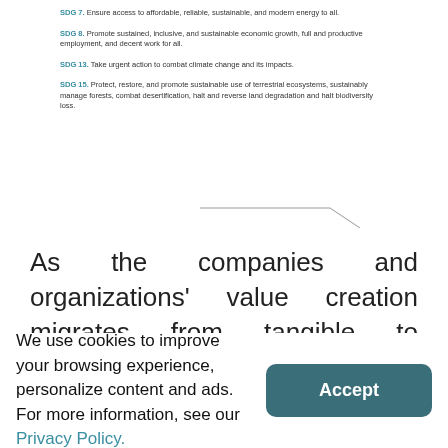SDG 7. Ensure access to affordable, reliable, sustainable, and modern energy to all.
SDG 8. Promote sustained, inclusive, and sustainable economic growth, full and productive employment, and decent work for all.
SDG 13. Take urgent action to combat climate change and its impacts.
SDG 15. Protect, restore, and promote sustainable use of terrestrial ecosystems, sustainably manage forests, combat desertification, halt and reverse land degradation and halt biodiversity loss.
As the companies and organizations' value creation migrates from tangible to intangible, where reputation and brand, the ability to innovate and to relate to different stakeholders
We use cookies to improve your browsing experience, personalize content and ads. For more information, see our Privacy Policy.